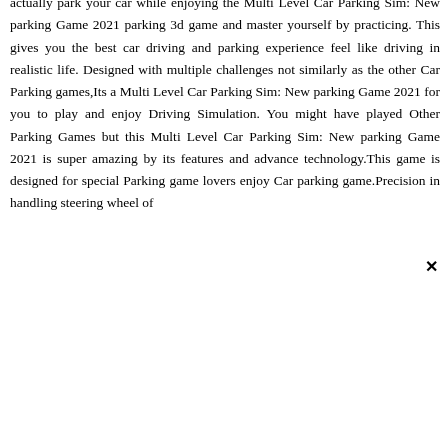actually park your car while enjoying the Multi Level Car Parking Sim: New parking Game 2021 parking 3d game and master yourself by practicing. This gives you the best car driving and parking experience feel like driving in realistic life. Designed with multiple challenges not similarly as the other Car Parking games,Its a Multi Level Car Parking Sim: New parking Game 2021 for you to play and enjoy Driving Simulation. You might have played Other Parking Games but this Multi Level Car Parking Sim: New parking Game 2021 is super amazing by its features and advance technology.This game is designed for special Parking game lovers enjoy Car parking game.Precision in handling steering wheel of